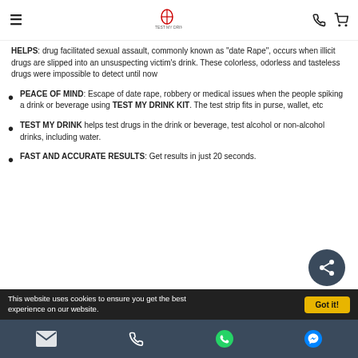Navigation header with hamburger menu, logo, phone and cart icons
HELPS: drug facilitated sexual assault, commonly known as "date Rape", occurs when illicit drugs are slipped into an unsuspecting victim's drink. These colorless, odorless and tasteless drugs were impossible to detect until now
PEACE OF MIND: Escape of date rape, robbery or medical issues when the people spiking a drink or beverage using TEST MY DRINK KIT. The test strip fits in purse, wallet, etc
TEST MY DRINK helps test drugs in the drink or beverage, test alcohol or non-alcohol drinks, including water.
FAST AND ACCURATE RESULTS: Get results in just 20 seconds.
Footer with email, phone, WhatsApp, and messenger icons
This website uses cookies to ensure you get the best experience on our website. Got it!